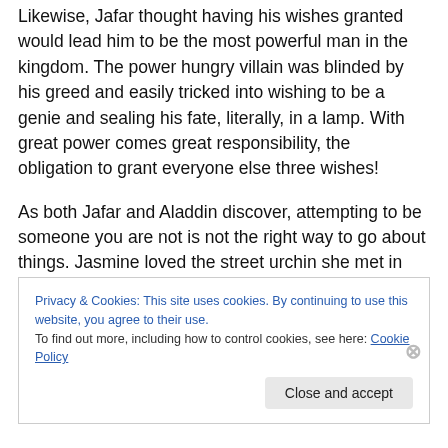Likewise, Jafar thought having his wishes granted would lead him to be the most powerful man in the kingdom. The power hungry villain was blinded by his greed and easily tricked into wishing to be a genie and sealing his fate, literally, in a lamp. With great power comes great responsibility, the obligation to grant everyone else three wishes!
As both Jafar and Aladdin discover, attempting to be someone you are not is not the right way to go about things. Jasmine loved the street urchin she met in the marketplace, not the arrogant prince who flaunted his
Privacy & Cookies: This site uses cookies. By continuing to use this website, you agree to their use.
To find out more, including how to control cookies, see here: Cookie Policy